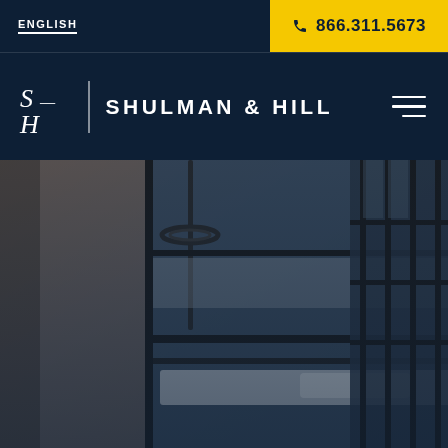ENGLISH
866.311.5673
[Figure (logo): Shulman & Hill law firm logo with SH monogram and firm name]
[Figure (photo): Interior photo of what appears to be a jail or prison cell with bunk bed and window bars, dark moody lighting]